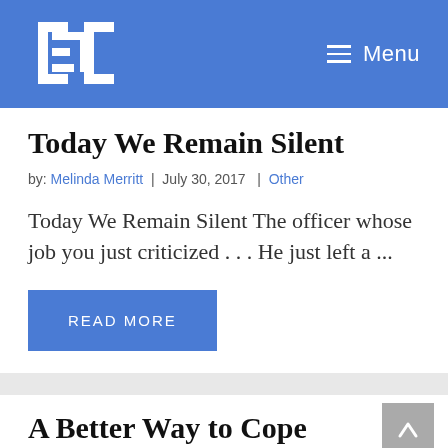Menu
Today We Remain Silent
by: Melinda Merritt | July 30, 2017 | Other
Today We Remain Silent The officer whose job you just criticized . . . He just left a ...
READ MORE
A Better Way to Cope
by: Melinda Merritt | January 5, 2017 | Faith & Family, Other